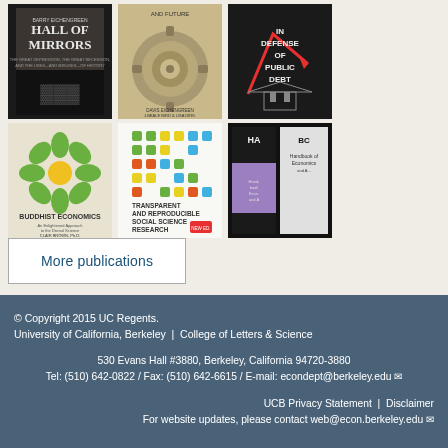[Figure (photo): Grid of 6 book covers: Hall of Mirrors, a clockwork/gears book, In Defense of Public Debt, Buddhist Economics, Transparent and Reproducible Social Science Research, and a Handbook of Economics]
More publications
© Copyright 2015 UC Regents.
University of California, Berkeley | College of Letters & Science
530 Evans Hall #3880, Berkeley, California 94720-3880
Tel: (510) 642-0822 / Fax: (510) 642-6615 / E-mail: econdept@berkeley.edu
UCB Privacy Statement | Disclaimer
For website updates, please contact web@econ.berkeley.edu